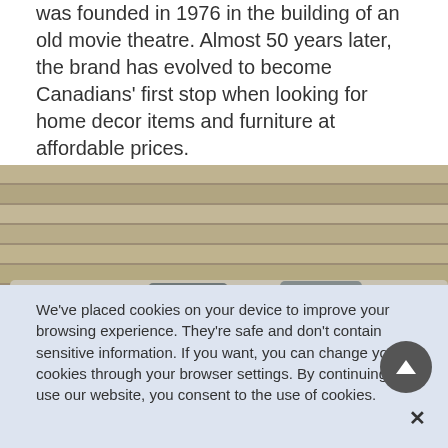was founded in 1976 in the building of an old movie theatre. Almost 50 years later, the brand has evolved to become Canadians' first stop when looking for home decor items and furniture at affordable prices.
[Figure (photo): A living room scene featuring a light grey sectional sofa with various decorative pillows in yellow/mustard, grey, and beige geometric patterns. A wooden coffee table with a plant, black bird figurine, yellow vase, and decorative items in front. Wood plank wall in background.]
We've placed cookies on your device to improve your browsing experience. They're safe and don't contain sensitive information. If you want, you can change your cookies through your browser settings. By continuing to use our website, you consent to the use of cookies.